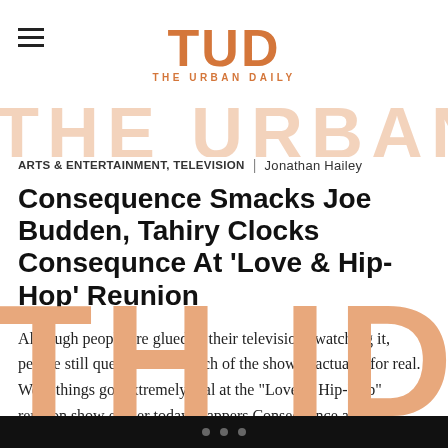TUD THE URBAN DAILY
[Figure (logo): TUD The Urban Daily logo in orange/copper color]
ARTS & ENTERTAINMENT, TELEVISION | Jonathan Hailey
Consequence Smacks Joe Budden, Tahiry Clocks Consequnce At ‘Love & Hip-Hop’ Reunion
Although people are glued to their televisions watching it, people still question how much of the show is actually for real. Well, things got extremely real at the “Love & Hip-Hop” reunion show earlier today. Rappers Consequence and Joe Budden got into an altercation at the reunion show. Consequence smacked Budden in the face was […]
...